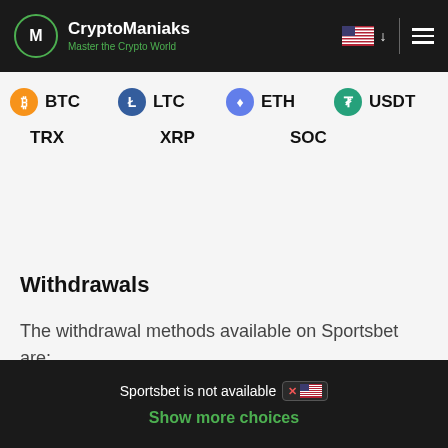CryptoManiaks - Master the Crypto World
BTC  LTC  ETH  USDT
TRX  XRP  SOC
Withdrawals
The withdrawal methods available on Sportsbet are:
Sportsbet is not available [x US flag]  Show more choices